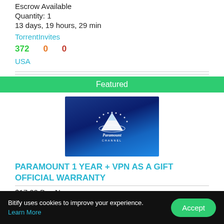Escrow Available
Quantity: 1
13 days, 19 hours, 29 min
TorrentInvites
372   0   0
USA
Featured
[Figure (photo): Paramount Channel logo on dark blue background]
PARAMOUNT 1 YEAR + VPN AS A GIFT OFFICIAL WARRANTY
$17.00 Buy Now
0.00078888 ₿
Bitify uses cookies to improve your experience. Learn More
Accept